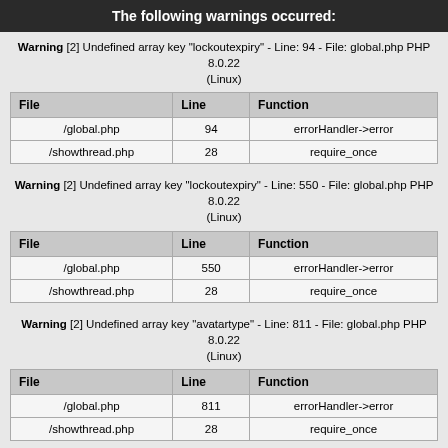The following warnings occurred:
Warning [2] Undefined array key "lockoutexpiry" - Line: 94 - File: global.php PHP 8.0.22 (Linux)
| File | Line | Function |
| --- | --- | --- |
| /global.php | 94 | errorHandler->error |
| /showthread.php | 28 | require_once |
Warning [2] Undefined array key "lockoutexpiry" - Line: 550 - File: global.php PHP 8.0.22 (Linux)
| File | Line | Function |
| --- | --- | --- |
| /global.php | 550 | errorHandler->error |
| /showthread.php | 28 | require_once |
Warning [2] Undefined array key "avatartype" - Line: 811 - File: global.php PHP 8.0.22 (Linux)
| File | Line | Function |
| --- | --- | --- |
| /global.php | 811 | errorHandler->error |
| /showthread.php | 28 | require_once |
Warning [2] Undefined array key "avatartype" - Line: 811 - File: global.php PHP 8.0.22 (Linux)
| File | Line | Function |
| --- | --- | --- |